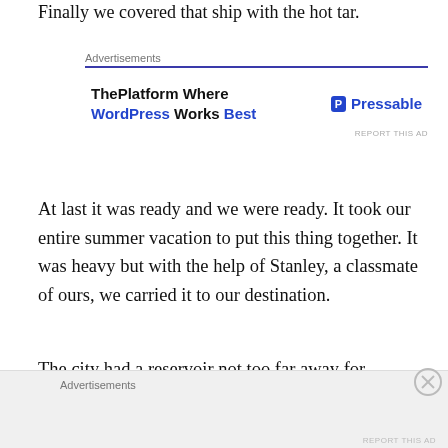Finally we covered that ship with the hot tar.
[Figure (other): Advertisement banner for Pressable - ThePlatform Where WordPress Works Best]
At last it was ready and we were ready. It took our entire summer vacation to put this thing together. It was heavy but with the help of Stanley, a classmate of ours, we carried it to our destination.
The city had a reservoir not too far away for drinking water. It was about twenty feet deep, just the right size for us. It got slippery near the water and we took our time to get it in without tipping it over. Ernest gave an official
[Figure (other): Advertisements banner at bottom of page]